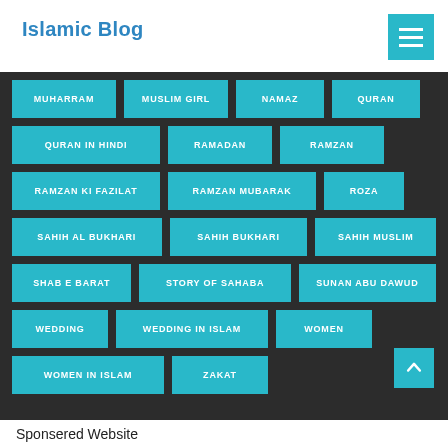Islamic Blog
MUHARRAM
MUSLIM GIRL
NAMAZ
QURAN
QURAN IN HINDI
RAMADAN
RAMZAN
RAMZAN KI FAZILAT
RAMZAN MUBARAK
ROZA
SAHIH AL BUKHARI
SAHIH BUKHARI
SAHIH MUSLIM
SHAB E BARAT
STORY OF SAHABA
SUNAN ABU DAWUD
WEDDING
WEDDING IN ISLAM
WOMEN
WOMEN IN ISLAM
ZAKAT
Sponsered Website